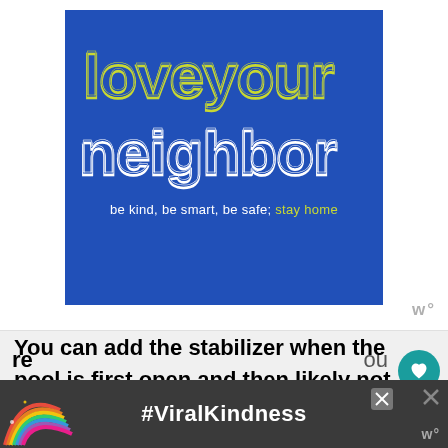[Figure (illustration): Blue poster with retro outlined typography reading 'love your neighbor' with tagline 'be kind, be smart, be safe; stay home'. 'love your' is in yellow-green outline letters, 'neighbor' in white outline letters on a royal blue background.]
You can add the stabilizer when the pool is first open and then likely not again for a few weeks or months. Just
[Figure (illustration): Bottom advertisement banner with a rainbow graphic on the left and text '#ViralKindness' in white on a dark background.]